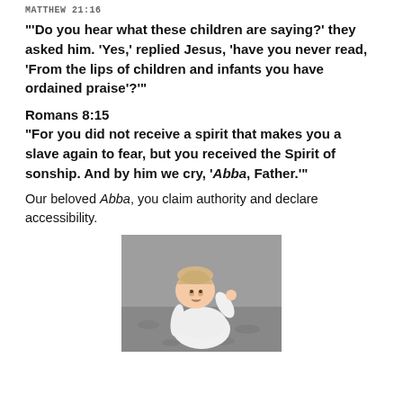MATTHEW 21:16
“‘Do you hear what these children are saying?’ they asked him.  ‘Yes,’ replied Jesus, ‘have you never read, ‘From the lips of children and infants you have ordained praise’?’”
Romans 8:15
“For you did not receive a spirit that makes you a slave again to fear, but you received the Spirit of sonship.  And by him we cry, ‘Abba, Father.’”
Our beloved Abba, you claim authority and declare accessibility.
[Figure (photo): A baby in white clothing looking upward with one arm raised, photographed outdoors on a gray gravelly background.]